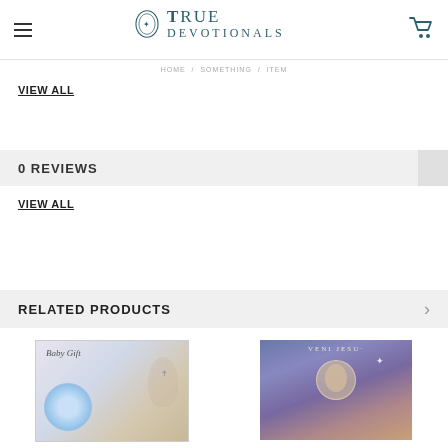True Devotionals
VIEW ALL
0 REVIEWS
VIEW ALL
RELATED PRODUCTS
[Figure (photo): Baby Gift product image showing a blue rosary and religious baby gift packaging]
[Figure (photo): Veni Jesu religious image showing Madonna and Child with halo and star]